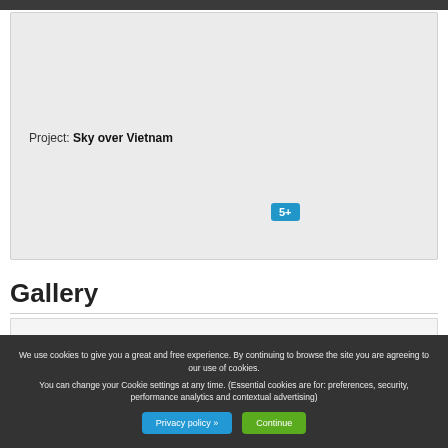[Figure (screenshot): A light gray card/panel showing project info. Contains text 'Project: Sky over Vietnam' and a blue badge labeled '5+'.]
Gallery
[Figure (screenshot): A light gray gallery card panel, partially visible at the bottom of the page.]
We use cookies to give you a great and free experience. By continuing to browse the site you are agreeing to our use of cookies.

You can change your Cookie settings at any time. (Essential cookies are for: preferences, security, performance analytics and contextual advertising)
Privacy policy »
Continue